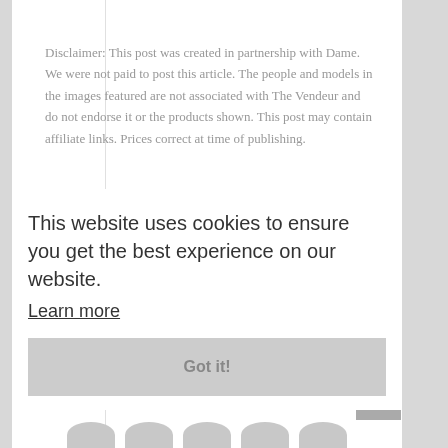Disclaimer: This post was created in partnership with Dame. We were not paid to post this article. The people and models in the images featured are not associated with The Vendeur and do not endorse it or the products shown. This post may contain affiliate links. Prices correct at time of publishing.
This website uses cookies to ensure you get the best experience on our website. Learn more
Got it!